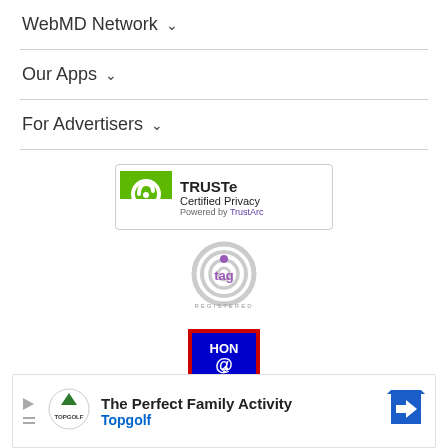WebMD Network ∨
Our Apps ∨
For Advertisers ∨
[Figure (logo): TRUSTe Certified Privacy Powered by TrustArc badge]
[Figure (logo): TAG Registered logo (spiral antenna icon with 'tag' text and 'REGISTERED' label)]
[Figure (logo): HON@code badge - red border, blue background with HON @code CODE text]
ADVERTISEMENT
[Figure (other): Topgolf advertisement banner: 'The Perfect Family Activity' with Topgolf logo and navigation arrow]